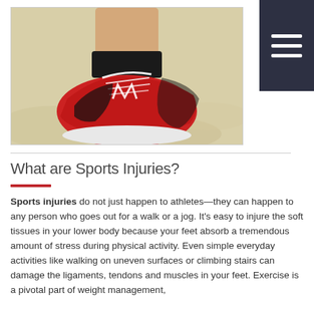[Figure (photo): Close-up of a person's foot wearing a red and black athletic running shoe on sandy ground]
What are Sports Injuries?
Sports injuries do not just happen to athletes—they can happen to any person who goes out for a walk or a jog. It's easy to injure the soft tissues in your lower body because your feet absorb a tremendous amount of stress during physical activity. Even simple everyday activities like walking on uneven surfaces or climbing stairs can damage the ligaments, tendons and muscles in your feet. Exercise is a pivotal part of weight management,